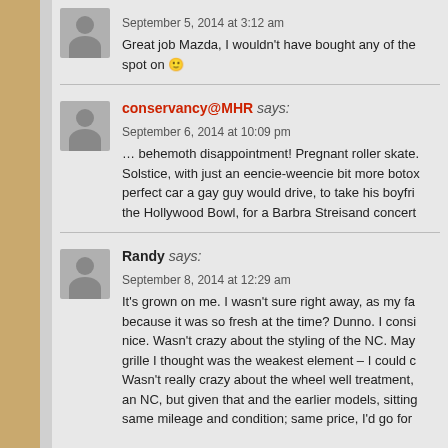September 5, 2014 at 3:12 am
Great job Mazda, I wouldn't have bought any of the spot on 🙂
conservancy@MHR says:
September 6, 2014 at 10:09 pm
… behemoth disappointment! Pregnant roller skate. Solstice, with just an eencie-weencie bit more botox perfect car a gay guy would drive, to take his boyfri the Hollywood Bowl, for a Barbra Streisand concert
Randy says:
September 8, 2014 at 12:29 am
It's grown on me. I wasn't sure right away, as my fa because it was so fresh at the time? Dunno. I consi nice. Wasn't crazy about the styling of the NC. May grille I thought was the weakest element – I could c Wasn't really crazy about the wheel well treatment, an NC, but given that and the earlier models, sitting same mileage and condition; same price, I'd go for